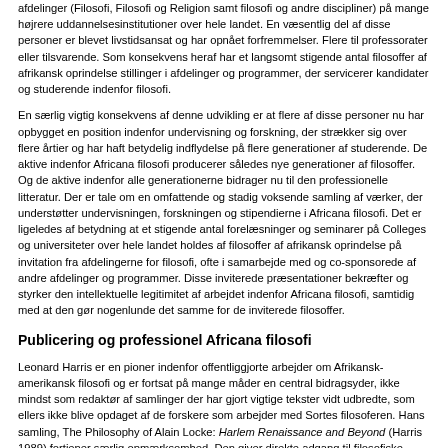afdelinger (Filosofi, Filosofi og Religion samt filosofi og andre discipliner) på mange højrere uddannelsesinstitutioner over hele landet. En væsentlig del af disse personer er blevet livstidsansat og har opnået forfremmelser. Flere til professorater eller tilsvarende. Som konsekvens heraf har et langsomt stigende antal filosoffer af afrikansk oprindelse stillinger i afdelinger og programmer, der servicerer kandidater og studerende indenfor filosofi.
En særlig vigtig konsekvens af denne udvikling er at flere af disse personer nu har opbygget en position indenfor undervisning og forskning, der strækker sig over flere årtier og har haft betydelig indflydelse på flere generationer af studerende. De aktive indenfor Africana filosofi producerer således nye generationer af filosoffer. Og de aktive indenfor alle generationerne bidrager nu til den professionelle litteratur. Der er tale om en omfattende og stadig voksende samling af værker, der understøtter undervisningen, forskningen og stipendierne i Africana filosofi. Det er ligeledes af betydning at et stigende antal forelæsninger og seminarer på Colleges og universiteter over hele landet holdes af filosoffer af afrikansk oprindelse på invitation fra afdelingerne for filosofi, ofte i samarbejde med og co-sponsorede af andre afdelinger og programmer. Disse inviterede præsentationer bekræfter og styrker den intellektuelle legitimitet af arbejdet indenfor Africana filosofi, samtidig med at den gør nogenlunde det samme for de inviterede filosoffer.
Publicering og professionel Africana filosofi
Leonard Harris er en pioner indenfor offentliggjorte arbejder om Afrikansk-amerikansk filosofi og er fortsat på mange måder en central bidragsyder, ikke mindst som redaktør af samlinger der har gjort vigtige tekster vidt udbredte, som ellers ikke blive opdaget af de forskere som arbejder med Sortes filosoferen. Hans samling, The Philosophy of Alain Locke: Harlem Renaissance and Beyond (Harris 1989) fortjener særlig opmærksomhed. Den giver direkte adgang til filosofiske essays blandt Lockes mere end 300 publicerede og upublicerede essays og boganmeldelser. Og hans Philosophy Born of Struggle: Anthology of Afro-American Philosophy from 1917 (Harris 1983) var i mange år den eneste bredt tilgængelige, nogenlunde